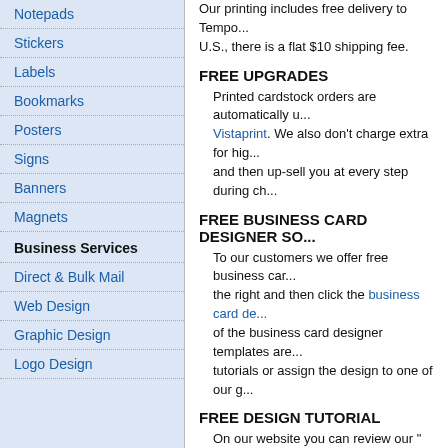Notepads
Stickers
Labels
Bookmarks
Posters
Signs
Banners
Magnets
Business Services
Direct & Bulk Mail
Web Design
Graphic Design
Logo Design
Our printing includes free delivery to Tempo... U.S., there is a flat $10 shipping fee.
FREE UPGRADES
Printed cardstock orders are automatically u... Vistaprint. We also don't charge extra for hig... and then up-sell you at every step during ch...
FREE BUSINESS CARD DESIGNER SO...
To our customers we offer free business car... the right and then click the business card de... of the business card designer templates are... tutorials or assign the design to one of our g...
FREE DESIGN TUTORIAL
On our website you can review our " how-to... and tips that can take months to learn and d...
FREE SAMPLES
If you have any doubt about our printing qua... when viewing any product.
FREE ON-LINE PROOF
You can be sure your artwork uploaded corre... will need to e-mail you a proof. Our gua...